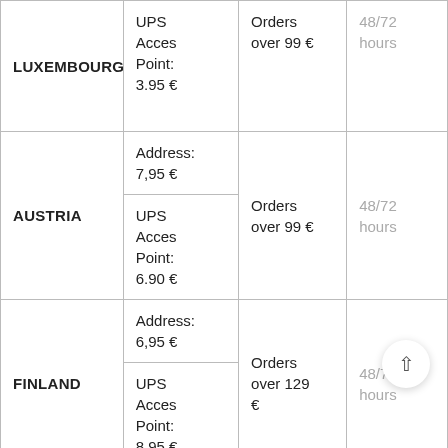| Country | Service | Free Shipping | Delivery Time |
| --- | --- | --- | --- |
| LUXEMBOURG | UPS Acces Point: 3.95 € | Orders over 99 € | 48/72 hours |
| AUSTRIA | Address: 7,95 € | Orders over 99 € | 48/72 hours |
| AUSTRIA | UPS Acces Point: 6.90 € | Orders over 99 € | 48/72 hours |
| FINLAND | Address: 6,95 € | Orders over 129 € | 48/72 hours |
| FINLAND | UPS Acces Point: 8.95 € | Orders over 129 € | 48/72 hours |